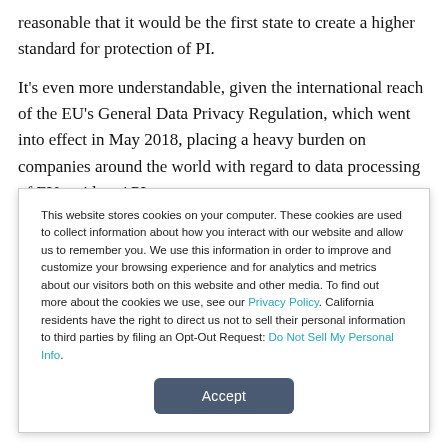reasonable that it would be the first state to create a higher standard for protection of PI.
It's even more understandable, given the international reach of the EU's General Data Privacy Regulation, which went into effect in May 2018, placing a heavy burden on companies around the world with regard to data processing of EU residents' PI.
This website stores cookies on your computer. These cookies are used to collect information about how you interact with our website and allow us to remember you. We use this information in order to improve and customize your browsing experience and for analytics and metrics about our visitors both on this website and other media. To find out more about the cookies we use, see our Privacy Policy. California residents have the right to direct us not to sell their personal information to third parties by filing an Opt-Out Request: Do Not Sell My Personal Info.
Accept